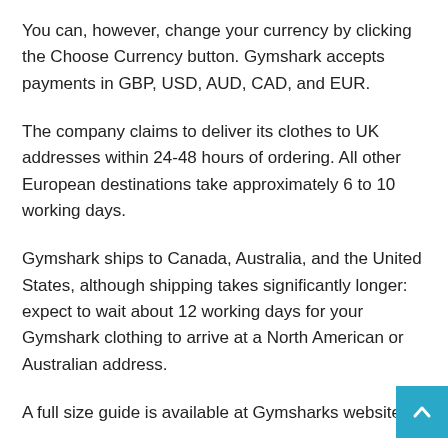You can, however, change your currency by clicking the Choose Currency button. Gymshark accepts payments in GBP, USD, AUD, CAD, and EUR.
The company claims to deliver its clothes to UK addresses within 24-48 hours of ordering. All other European destinations take approximately 6 to 10 working days.
Gymshark ships to Canada, Australia, and the United States, although shipping takes significantly longer: expect to wait about 12 working days for your Gymshark clothing to arrive at a North American or Australian address.
A full size guide is available at Gymsharks website.
From there, you can see exactly which size would work best for a man or woman of your size.